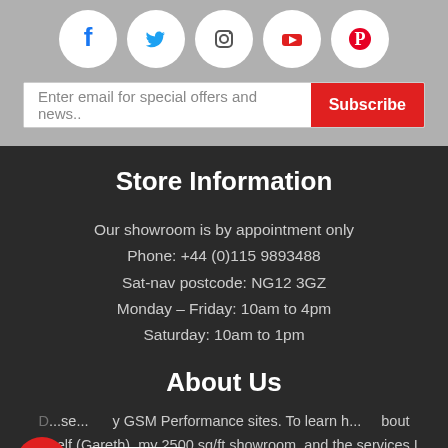[Figure (other): Five social media icons in circles: Facebook (blue), Twitter (blue bird), Instagram (camera outline), YouTube (red play button), Pinterest (red P)]
[Figure (other): Email subscription bar with placeholder text 'Enter email for special offers and news..' and a red Subscribe button]
Store Information
Our showroom is by appointment only
Phone: +44 (0)115 9893488
Sat-nav postcode: NG12 3GZ
Monday – Friday: 10am to 4pm
Saturday: 10am to 1pm
About Us
...se...y GSM Performance sites. To learn h...bout myself (Gareth), my 2500 sq/ft showroom, and the services I offer, click here.
[Figure (other): Red circular chat widget button with speech bubble icon, and a white pill-shaped label reading 'Contact us!']